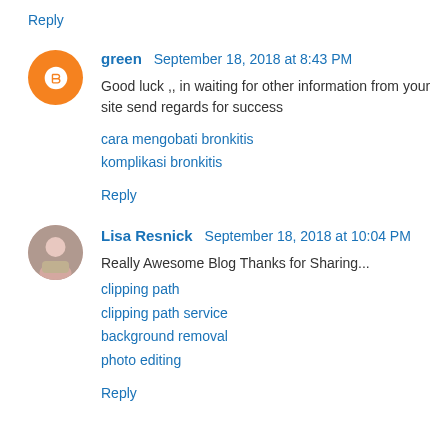Reply
green  September 18, 2018 at 8:43 PM
Good luck ,, in waiting for other information from your site send regards for success
cara mengobati bronkitis
komplikasi bronkitis
Reply
Lisa Resnick  September 18, 2018 at 10:04 PM
Really Awesome Blog Thanks for Sharing...
clipping path
clipping path service
background removal
photo editing
Reply